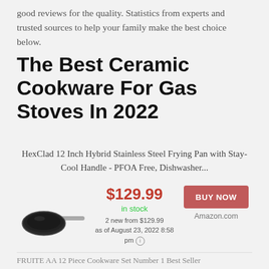good reviews for the quality. Statistics from experts and trusted sources to help your family make the best choice below.
The Best Ceramic Cookware For Gas Stoves In 2022
HexClad 12 Inch Hybrid Stainless Steel Frying Pan with Stay-Cool Handle - PFOA Free, Dishwasher...
[Figure (photo): Photo of a dark ceramic frying pan with a long stainless steel handle, viewed from a slight angle showing the flat cooking surface.]
$129.99
in stock
2 new from $129.99
as of August 23, 2022 8:58 pm ℹ
BUY NOW
Amazon.com
FRUITE AA 12 Piece Cookware Set Number 1 Best Seller